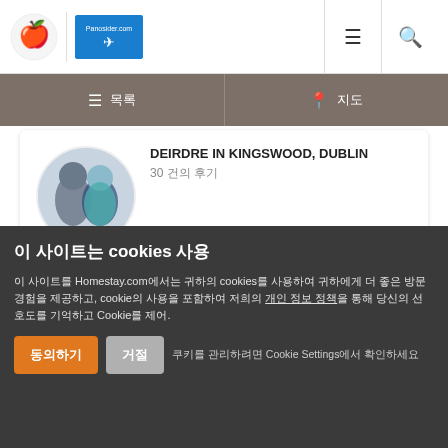Homestay.com | Panosider.com header with navigation icons
☰ 목록 | ⊙ 지도 (tab bar)
DEIRDRE IN KINGSWOOD, DUBLIN
30 건의 후기
♥♥♥♥♥
[Figure (photo): Exterior photo of a red brick house with white-framed windows and flat roof extension. Green price badge showing 최저가 $49부]
이 사이트는 cookies 사용

이 사이트를 Homestay.com에서는 귀하의 cookies를 사용하여 귀하에게 더 좋은 방문 경험을 제공하고, cookie의 사용을 포함하여 저희의 개인 정보 정책을 통해 당신의 선호도를 기억하고 Cookie를 제어.
동의하기 | 거절 | 쿠키를 관리하려면 Cookie Settings에서 확인하세요